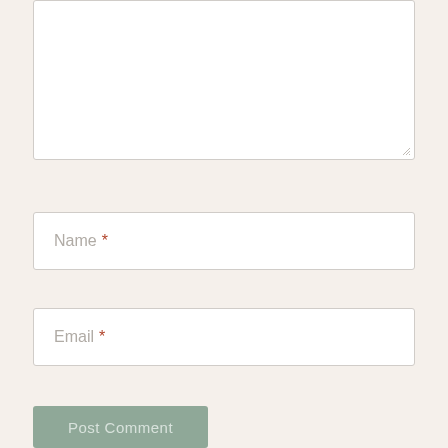[Figure (screenshot): Comment textarea input box (empty white rectangle with resize handle)]
Name *
Email *
Post Comment